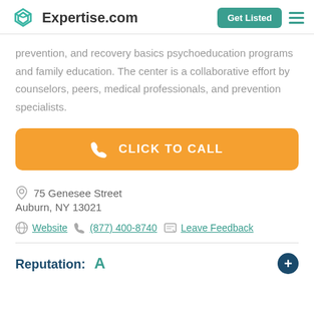Expertise.com
prevention, and recovery basics psychoeducation programs and family education. The center is a collaborative effort by counselors, peers, medical professionals, and prevention specialists.
[Figure (other): Orange 'CLICK TO CALL' button with phone icon]
75 Genesee Street
Auburn, NY 13021
Website  (877) 400-8740  Leave Feedback
Reputation: A